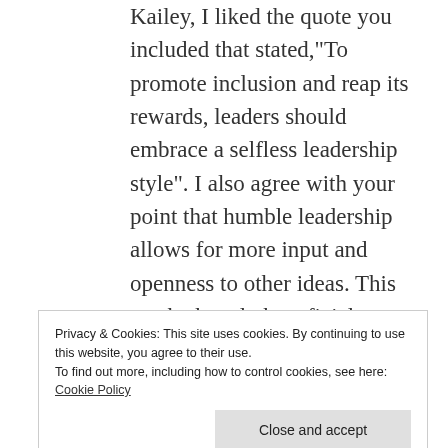Kailey, I liked the quote you included that stated,"To promote inclusion and reap its rewards, leaders should embrace a selfless leadership style". I also agree with your point that humble leadership allows for more input and openness to other ideas. This can be hugely beneficial to any company. A humble leader is one that all people respect and this can be widely beneficial to any organization. When a manager is respected on a level of virtue rather than off of experience or power
Privacy & Cookies: This site uses cookies. By continuing to use this website, you agree to their use.
To find out more, including how to control cookies, see here: Cookie Policy
trust in the leader that goes deeper than